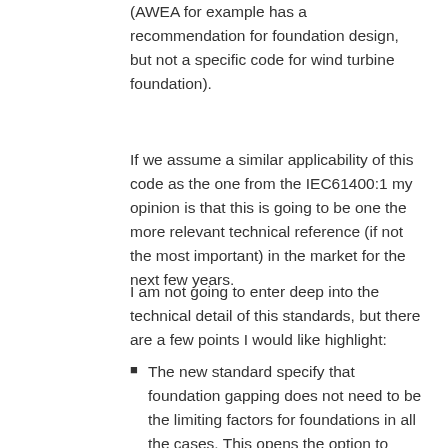(AWEA for example has a recommendation for foundation design, but not a specific code for wind turbine foundation).
If we assume a similar applicability of this code as the one from the IEC61400:1 my opinion is that this is going to be one the more relevant technical reference (if not the most important) in the market for the next few years.
I am not going to enter deep into the technical detail of this standards, but there are a few points I would like highlight:
The new standard specify that foundation gapping does not need to be the limiting factors for foundations in all the cases. This opens the option to reduce the foundation size importantly when the soil is good enough.
Specifies the applicable codes for concrete design and provide guidance in how to perform some calculations (for instance cracking, dynamic shear modulus, etc…)